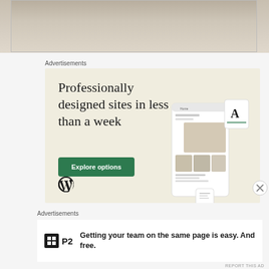[Figure (photo): Top portion of a photo showing a fabric or cardboard surface with beige/tan texture]
Advertisements
[Figure (illustration): WordPress ad banner with cream background. Headline: 'Professionally designed sites in less than a week'. Green 'Explore options' button. WordPress logo bottom left. Mockup of website screens on the right.]
Advertisements
[Figure (illustration): P2 advertisement: P2 logo (black square with grid icon and bold P2 text). Tagline: 'Getting your team on the same page is easy. And free.']